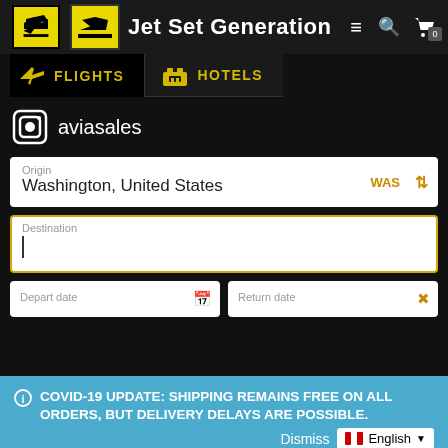Jet Set Generation
FLIGHTS
HOTELS
[Figure (logo): Aviasales logo — stylized camera/lens icon with text 'aviasales']
Origin
Washington, United States
WAS
Destination
Depart date
Return date
ⓘ COVID-19 UPDATE: SHIPPING REMAINS FREE ON ALL ORDERS, BUT DELIVERY DELAYS ARE POSSIBLE.
Dismiss
English